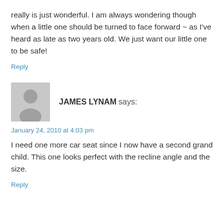really is just wonderful. I am always wondering though when a little one should be turned to face forward ~ as I've heard as late as two years old. We just want our little one to be safe!
Reply
JAMES LYNAM says:
January 24, 2010 at 4:03 pm
I need one more car seat since I now have a second grand child. This one looks perfect with the recline angle and the size.
Reply